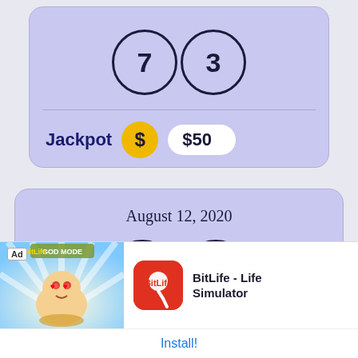[Figure (screenshot): Lottery app card showing numbers 7 and 3 in circles, with a Jackpot row showing $50]
Jackpot   $50
[Figure (screenshot): Lottery app card showing date August 12, 2020 with numbers 5 and 3 in circles]
August 12, 2020
[Figure (screenshot): Ad banner for BitLife - Life Simulator app with Install button]